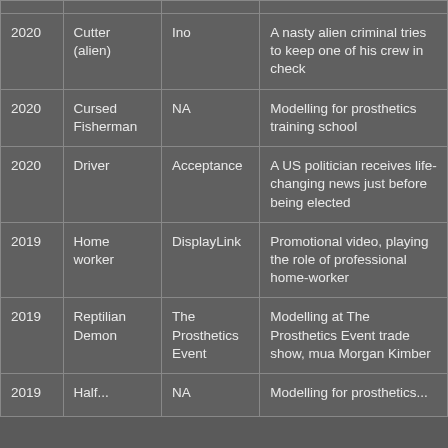| Year | Role | Production | Notes |
| --- | --- | --- | --- |
| 2020 | Cutter (alien) | Ino | A nasty alien criminal tries to keep one of his crew in check |
| 2020 | Cursed Fisherman | NA | Modelling for prosthetics training school |
| 2020 | Driver | Acceptance | A US politician receives life-changing news just before being elected |
| 2019 | Home worker | DisplayLink | Promotional video, playing the role of professional home-worker |
| 2019 | Reptilian Demon | The Prosthetics Event | Modelling at The Prosthetics Event trade show, mua Morgan Kimber |
| 2019 | Half... | NA | Modelling for prosthetics... |